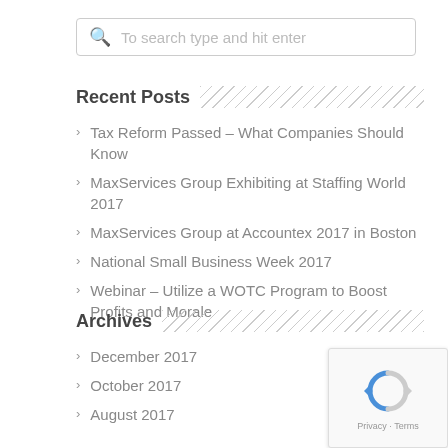To search type and hit enter
Recent Posts
Tax Reform Passed – What Companies Should Know
MaxServices Group Exhibiting at Staffing World 2017
MaxServices Group at Accountex 2017 in Boston
National Small Business Week 2017
Webinar – Utilize a WOTC Program to Boost Profits and Morale
Archives
December 2017
October 2017
August 2017